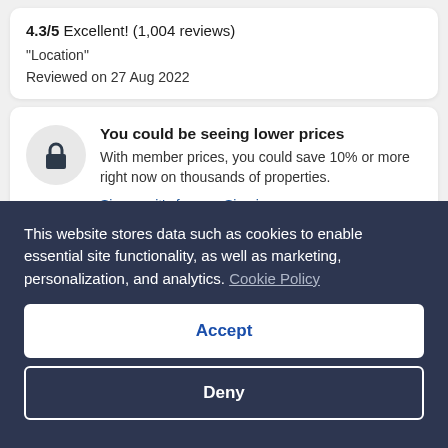4.3/5 Excellent! (1,004 reviews)
"Location"
Reviewed on 27 Aug 2022
You could be seeing lower prices
With member prices, you could save 10% or more right now on thousands of properties.
Sign up, it's free   Sign in
Palast Hotel
This website stores data such as cookies to enable essential site functionality, as well as marketing, personalization, and analytics. Cookie Policy
Accept
Deny